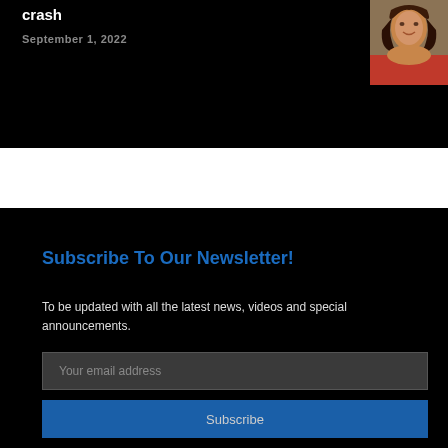crash
September 1, 2022
[Figure (photo): Portrait photo of a woman with curly hair wearing a red top]
Subscribe To Our Newsletter!
To be updated with all the latest news, videos and special announcements.
Your email address
Subscribe